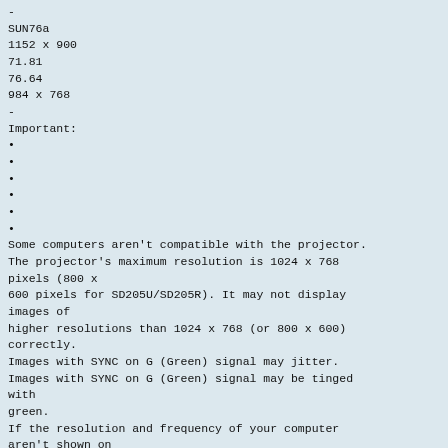-
SUN76a
1152 x 900
71.81
76.64
984 x 768
-
Important:
•
•
•
•
•
•
Some computers aren't compatible with the projector.
The projector's maximum resolution is 1024 x 768
pixels (800 x
600 pixels for SD205U/SD205R). It may not display
images of
higher resolutions than 1024 x 768 (or 800 x 600)
correctly.
Images with SYNC on G (Green) signal may jitter.
Images with SYNC on G (Green) signal may be tinged
with
green.
If the resolution and frequency of your computer
aren't shown on
the table, find the compatible resolution and
frequency by changing the resolution of your
computer.
Set COMPUTER INPUT in the SIGNAL menu to RGB when
inputting the HDTV signal as RGB signal.
Downloaded From projector-manual.com Mitsubishi